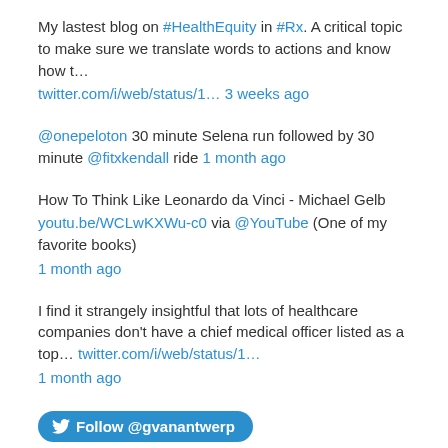My lastest blog on #HealthEquity in #Rx. A critical topic to make sure we translate words to actions and know how t… twitter.com/i/web/status/1… 3 weeks ago
@onepeloton 30 minute Selena run followed by 30 minute @fitxkendall ride 1 month ago
How To Think Like Leonardo da Vinci - Michael Gelb youtu.be/WCLwKXWu-c0 via @YouTube (One of my favorite books) 1 month ago
I find it strangely insightful that lots of healthcare companies don't have a chief medical officer listed as a top… twitter.com/i/web/status/1… 1 month ago
[Figure (other): Follow @gvanantwerp Twitter button]
[Figure (logo): My SlideShare logo/widget]